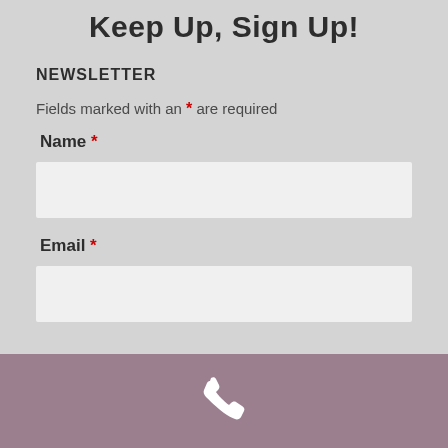Keep Up, Sign Up!
NEWSLETTER
Fields marked with an * are required
Name *
Email *
[Figure (illustration): White telephone handset icon on a mauve/dusty rose colored footer bar]